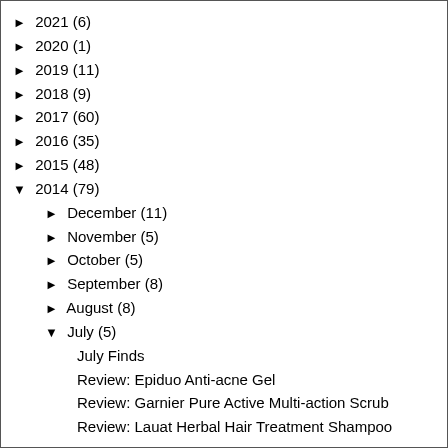► 2021 (6)
► 2020 (1)
► 2019 (11)
► 2018 (9)
► 2017 (60)
► 2016 (35)
► 2015 (48)
▼ 2014 (79)
► December (11)
► November (5)
► October (5)
► September (8)
► August (8)
▼ July (5)
July Finds
Review: Epiduo Anti-acne Gel
Review: Garnier Pure Active Multi-action Scrub
Review: Lauat Herbal Hair Treatment Shampoo